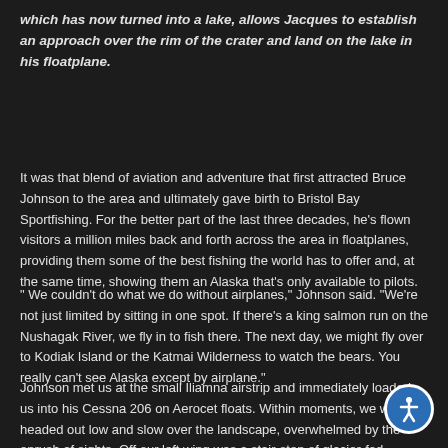which has now turned into a lake, allows Jacques to establish an approach over the rim of the crater and land on the lake in his floatplane.
It was that blend of aviation and adventure that first attracted Bruce Johnson to the area and ultimately gave birth to Bristol Bay Sportfishing. For the better part of the last three decades, he's flown visitors a million miles back and forth across the area in floatplanes, providing them some of the best fishing the world has to offer and, at the same time, showing them an Alaska that's only available to pilots.
" We couldn't do what we do without airplanes," Johnson said. "We're not just limited by sitting in one spot. If there's a king salmon run on the Nushagak River, we fly in to fish there. The next day, we might fly over to Kodiak Island or the Katmai Wilderness to watch the bears. You really can't see Alaska except by airplane."
Johnson met us at the small Iliamna airstrip and immediately loaded us into his Cessna 206 on Aerocet floats. Within moments, we were headed out low and slow over the landscape, overwhelmed by the onrush of sights. Off our left wing was a stair-step of glacier-fed waterfalls; to the right, a moose and her calf fed on the bright yellow